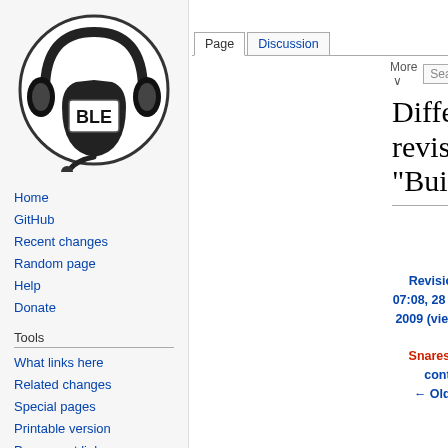Log in  Request account
[Figure (logo): Mumble wiki logo: circular black and white icon with headset and BLE text]
Home
GitHub
Recent changes
Random page
Help
Donate
Tools
What links here
Related changes
Special pages
Printable version
Permanent link
Page information
Difference between revisions of "BuildingWindows
| Revision as of 07:08, 28 December 2009 (view source) | Latest revision as of 07:41, 12 October 2020 (view source) |
| --- | --- |
| Snares2 (talk | contribs) | Krzmbrzl (talk | |
| ← Older edit |  |